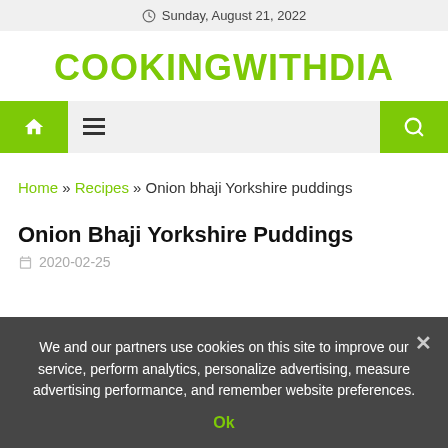Sunday, August 21, 2022
COOKINGWITHDIA
Home » Recipes » Onion bhaji Yorkshire puddings
Onion Bhaji Yorkshire Puddings
2020-02-25
We and our partners use cookies on this site to improve our service, perform analytics, personalize advertising, measure advertising performance, and remember website preferences.
Ok